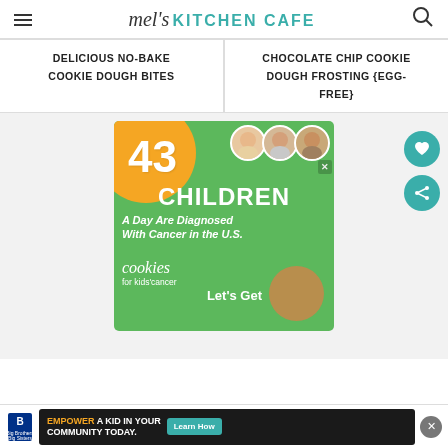mel's KITCHEN CAFE
DELICIOUS NO-BAKE COOKIE DOUGH BITES
CHOCOLATE CHIP COOKIE DOUGH FROSTING {EGG-FREE}
[Figure (infographic): Advertisement for Cookies for Kids Cancer: '43 CHILDREN A Day Are Diagnosed With Cancer in the U.S.' on a green background with orange circle, three children photos, cookie image, text 'Let's Get' and 'cookies for kids cancer']
[Figure (infographic): Bottom advertisement: Big Brothers Big Sisters logo with text 'EMPOWER A KID IN YOUR COMMUNITY TODAY.' and 'Learn How' button]